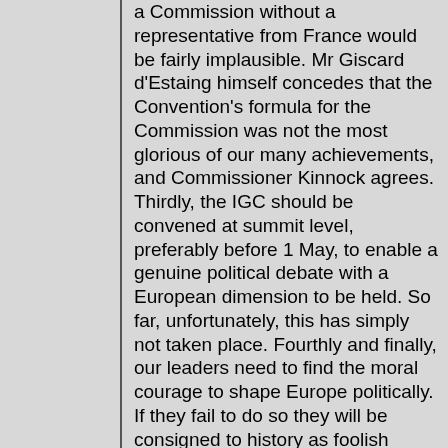a Commission without a representative from France would be fairly implausible. Mr Giscard d'Estaing himself concedes that the Convention's formula for the Commission was not the most glorious of our many achievements, and Commissioner Kinnock agrees. Thirdly, the IGC should be convened at summit level, preferably before 1 May, to enable a genuine political debate with a European dimension to be held. So far, unfortunately, this has simply not taken place. Fourthly and finally, our leaders need to find the moral courage to shape Europe politically. If they fail to do so they will be consigned to history as foolish cowards."@lv¹⁰ "Mijnheer de Voorzitter, ik zou graag vier voorstellen willen doen waarmee de IGC met succes zou kunnen worden afgesloten. We